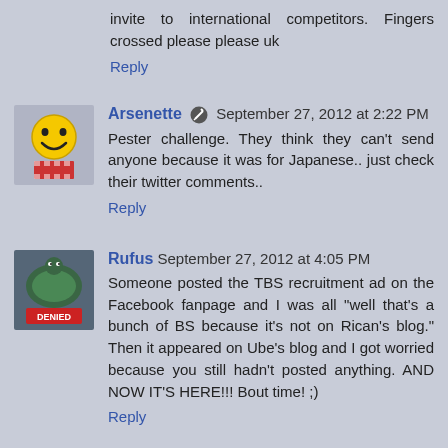invite to international competitors. Fingers crossed please please uk
Reply
Arsenette September 27, 2012 at 2:22 PM
Pester challenge. They think they can't send anyone because it was for Japanese.. just check their twitter comments..
Reply
Rufus September 27, 2012 at 4:05 PM
Someone posted the TBS recruitment ad on the Facebook fanpage and I was all "well that's a bunch of BS because it's not on Rican's blog." Then it appeared on Ube's blog and I got worried because you still hadn't posted anything. AND NOW IT'S HERE!!! Bout time! ;)
Reply